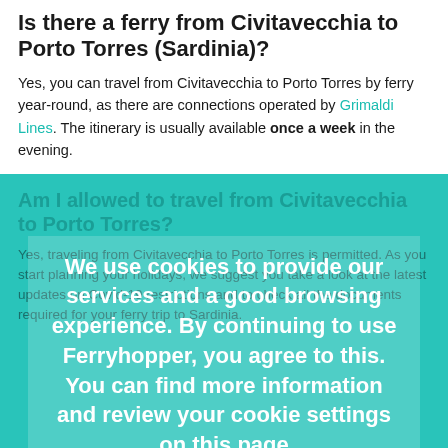Is there a ferry from Civitavecchia to Porto Torres (Sardinia)?
Yes, you can travel from Civitavecchia to Porto Torres by ferry year-round, as there are connections operated by Grimaldi Lines. The itinerary is usually available once a week in the evening.
Am I allowed to travel from Civitavecchia to Porto Torres?
Yes, traveling from Civitavecchia to Porto Torres is permitted. As you start planning your holidays, we suggest you take a look at the latest updates on Covid-19 restrictions and to check all the documents required for your ferry trip to Sardinia.
We use cookies to provide our services and a good browsing experience. By continuing to use Ferryhopper, you agree to this. You can find more information and review your cookie settings on this page
I accept
Book your ferry tickets >